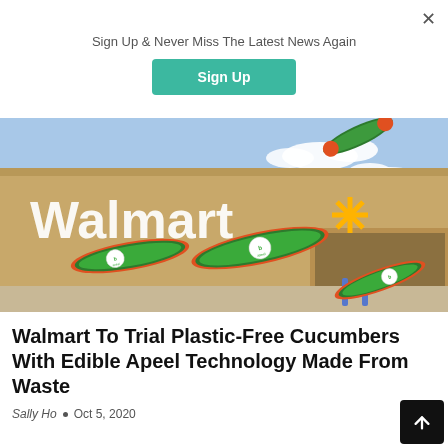Sign Up & Never Miss The Latest News Again
Sign Up
[Figure (photo): Walmart store exterior with cucumbers with Apeel branding flying in front of it]
Walmart To Trial Plastic-Free Cucumbers With Edible Apeel Technology Made From Waste
Sally Ho  •  Oct 5, 2020